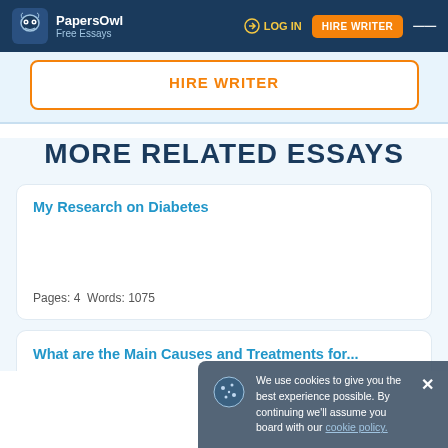PapersOwl Free Essays | LOG IN | HIRE WRITER
HIRE WRITER
MORE RELATED ESSAYS
My Research on Diabetes
Pages: 4  Words: 1075
We use cookies to give you the best experience possible. By continuing we'll assume you board with our cookie policy.
What are the Main Causes and Treatments for...